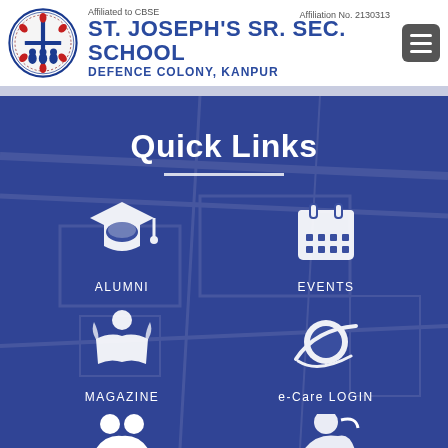Affiliated to CBSE  ST. JOSEPH'S SR. SEC. SCHOOL  DEFENCE COLONY, KANPUR  Affiliation No. 2130313
Quick Links
[Figure (illustration): Graduation cap icon for ALUMNI quick link]
ALUMNI
[Figure (illustration): Calendar icon for EVENTS quick link]
EVENTS
[Figure (illustration): Book/reading person icon for MAGAZINE quick link]
MAGAZINE
[Figure (illustration): Globe/internet icon for e-Care LOGIN quick link]
e-Care LOGIN
[Figure (illustration): Partially visible icons at bottom of page]